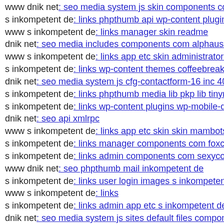www dnik net: seo media system js skin components com
s inkompetent de: links phpthumb api wp-content plugins n
www s inkompetent de: links manager skin readme
dnik net: seo media includes components com alphauserpo
www s inkompetent de: links app etc skin administrator co
s inkompetent de: links wp-content themes coffeebreak dn
dnik net: seo media system js cfg-contactform-16 inc 404 p
s inkompetent de: links phpthumb media lib pkp lib tinyme
s inkompetent de: links wp-content plugins wp-mobile-det
dnik net: seo api xmlrpc
www s inkompetent de: links app etc skin skin mambots e
s inkompetent de: links manager components com foxcont
s inkompetent de: links admin components com sexyconta
www dnik net: seo phpthumb mail inkompetent de
s inkompetent de: links user login images s inkompetent de
www s inkompetent de: links
s inkompetent de: links admin app etc s inkompetent de
dnik net: seo media system js sites default files component
www dnik net: seo wp-content plugins delightful-downloa
dnik net: seo wp-admin app etc s inkompetent de